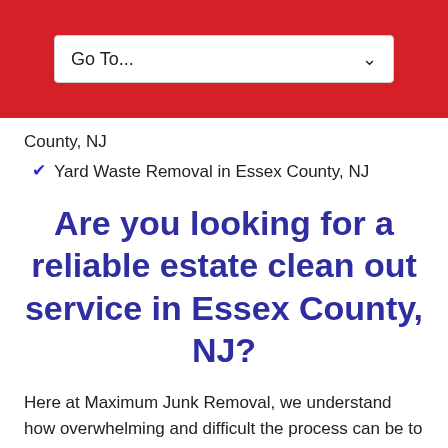[Figure (screenshot): Red navigation bar with a white dropdown selector labeled 'Go To...' with a chevron arrow]
County, NJ
✔ Yard Waste Removal in Essex County, NJ
Are you looking for a reliable estate clean out service in Essex County, NJ?
Here at Maximum Junk Removal, we understand how overwhelming and difficult the process can be to clean out a loved one's house. We have over twenty years of experience helping